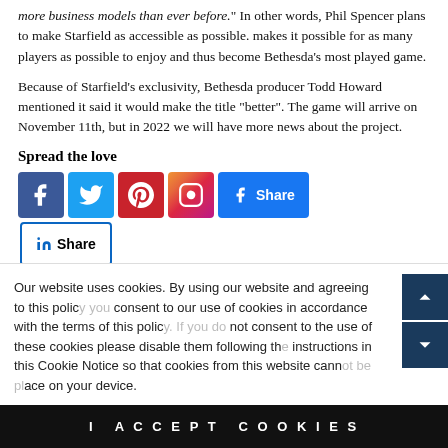more business models than ever before." In other words, Phil Spencer plans to make Starfield as accessible as possible. makes it possible for as many players as possible to enjoy and thus become Bethesda's most played game.
Because of Starfield's exclusivity, Bethesda producer Todd Howard mentioned it said it would make the title "better". The game will arrive on November 11th, but in 2022 we will have more news about the project.
Spread the love
[Figure (other): Social media sharing buttons: Facebook, Twitter, Pinterest, Instagram icons, Facebook Share button, LinkedIn Share button, Facebook Like button, Twitter Tweet button]
TAGGED | STARFIELD
Our website uses cookies. By using our website and agreeing to this policy you consent to our use of cookies in accordance with the terms of this policy. If you do not consent to the use of these cookies please disable them following the instructions in this Cookie Notice so that cookies from this website cannot be placed on your device.
I ACCEPT COOKIES